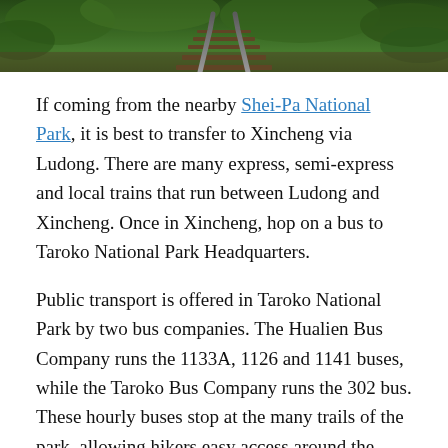[Figure (photo): Aerial or close-up view of railway tracks surrounded by dense green vegetation/jungle foliage]
If coming from the nearby Shei-Pa National Park, it is best to transfer to Xincheng via Ludong. There are many express, semi-express and local trains that run between Ludong and Xincheng. Once in Xincheng, hop on a bus to Taroko National Park Headquarters.
Public transport is offered in Taroko National Park by two bus companies. The Hualien Bus Company runs the 1133A, 1126 and 1141 buses, while the Taroko Bus Company runs the 302 bus. These hourly buses stop at the many trails of the park, allowing hikers easy access around the park.
Driving to Taroko National Park is possible from Taipei, Hualien, and Xincheng. It is a 159 km(99 mi) journey from Taipei which takes around two hours and forty minutes. Hualien lies only 41.8 km (26 mi) away with a 56 minute